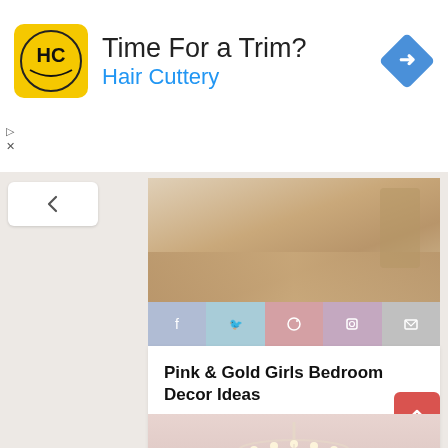[Figure (screenshot): Hair Cuttery advertisement banner with logo (HC on yellow/black background), headline 'Time For a Trim?', subtext 'Hair Cuttery', and blue navigation diamond icon]
[Figure (photo): Partial photo of a girls bedroom showing wooden floor and furniture]
[Figure (screenshot): Social sharing bar with Facebook, Twitter, Pinterest, Instagram, and email icon buttons]
Pink & Gold Girls Bedroom Decor Ideas
A beautiful Pink and Gold Girls Bedroom Decor Ideas with a modern yet delicate touch, fun seating, and functional desk space - perfect for all ages!
[Figure (photo): Photo of an ornate crystal chandelier in a pink girls bedroom]
[Figure (screenshot): Red scroll-to-top button with upward arrow]